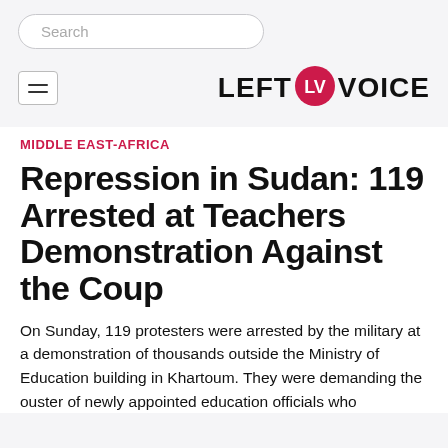Search
[Figure (logo): Left Voice logo with red circular LV icon between the words LEFT and VOICE in bold black text]
MIDDLE EAST-AFRICA
Repression in Sudan: 119 Arrested at Teachers Demonstration Against the Coup
On Sunday, 119 protesters were arrested by the military at a demonstration of thousands outside the Ministry of Education building in Khartoum. They were demanding the ouster of newly appointed education officials who